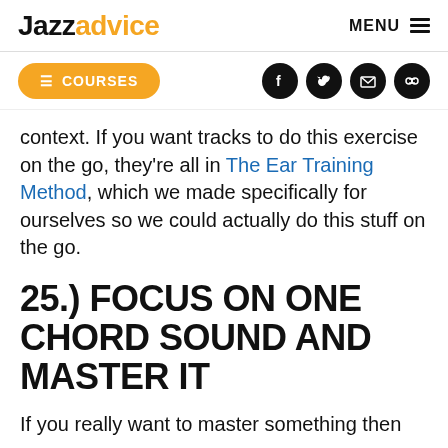Jazzadvice  MENU
COURSES (button) + social icons (Facebook, Twitter, Email, Link)
context. If you want tracks to do this exercise on the go, they're all in The Ear Training Method, which we made specifically for ourselves so we could actually do this stuff on the go.
25.) FOCUS ON ONE CHORD SOUND AND MASTER IT
If you really want to master something then